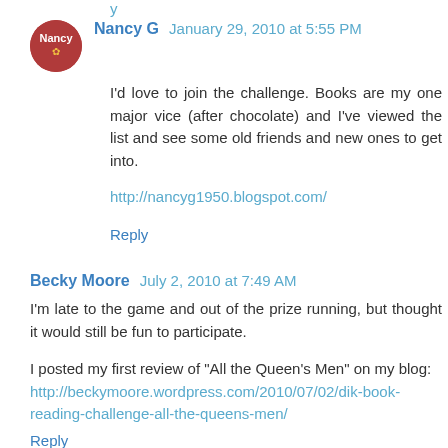Nancy G  January 29, 2010 at 5:55 PM
I'd love to join the challenge. Books are my one major vice (after chocolate) and I've viewed the list and see some old friends and new ones to get into.
http://nancyg1950.blogspot.com/
Reply
Becky Moore  July 2, 2010 at 7:49 AM
I'm late to the game and out of the prize running, but thought it would still be fun to participate.
I posted my first review of "All the Queen's Men" on my blog: http://beckymoore.wordpress.com/2010/07/02/dik-book-reading-challenge-all-the-queens-men/
Reply